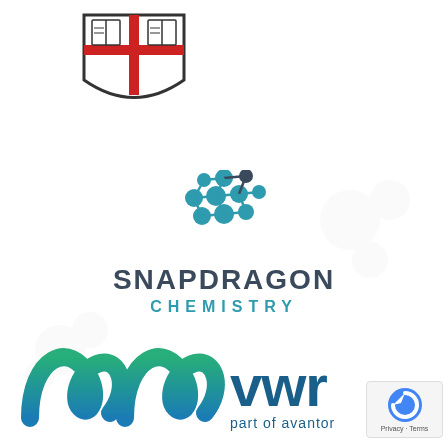[Figure (logo): University shield/crest logo with red cross and book symbols, black and white with red accent]
[Figure (logo): Snapdragon Chemistry logo: teal molecule dots above dark grey SNAPDRAGON text and teal CHEMISTRY text]
[Figure (logo): VWR part of Avantor logo: blue-green stylized wave/ribbon mark followed by lowercase 'vwr' text and 'part of avantor' tagline]